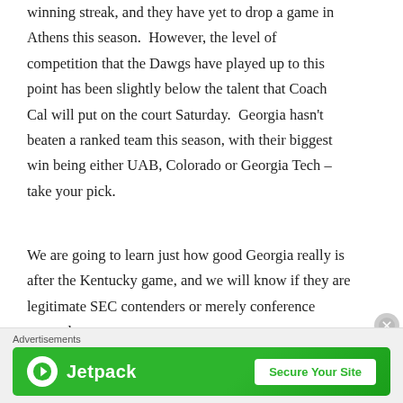winning streak, and they have yet to drop a game in Athens this season.  However, the level of competition that the Dawgs have played up to this point has been slightly below the talent that Coach Cal will put on the court Saturday.  Georgia hasn't beaten a ranked team this season, with their biggest win being either UAB, Colorado or Georgia Tech – take your pick.
We are going to learn just how good Georgia really is after the Kentucky game, and we will know if they are legitimate SEC contenders or merely conference pretenders.
[Figure (other): Advertisement banner for Jetpack with green background, Jetpack logo on left, and 'Secure Your Site' button on right. Labeled 'Advertisements' above.]